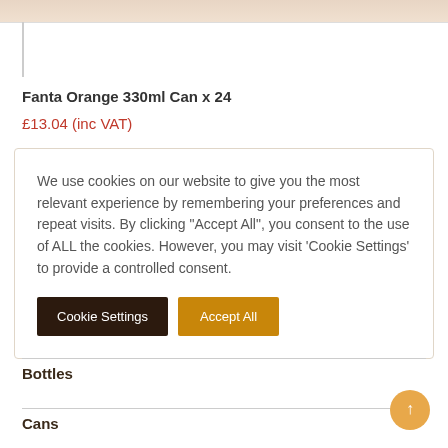[Figure (photo): Top partial image strip showing product image background (peach/beige tones)]
Fanta Orange 330ml Can x 24
£13.04 (inc VAT)
We use cookies on our website to give you the most relevant experience by remembering your preferences and repeat visits. By clicking "Accept All", you consent to the use of ALL the cookies. However, you may visit 'Cookie Settings' to provide a controlled consent.
Bottles
Cans